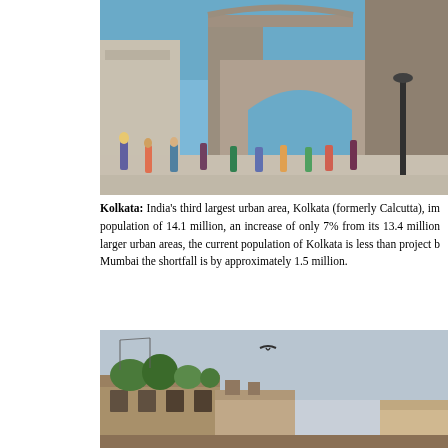[Figure (photo): Photograph of the Gateway of India in Mumbai, with crowds of people in the foreground and the large arched stone monument in the background under a blue sky.]
Kolkata: India's third largest urban area, Kolkata (formerly Calcutta), im population of 14.1 million, an increase of only 7% from its 13.4 million larger urban areas, the current population of Kolkata is less than project Mumbai the shortfall is by approximately 1.5 million.
[Figure (photo): Photograph of old buildings in Kolkata with vegetation growing on rooftops, a bird flying in a hazy sky, and dilapidated colonial-era architecture.]